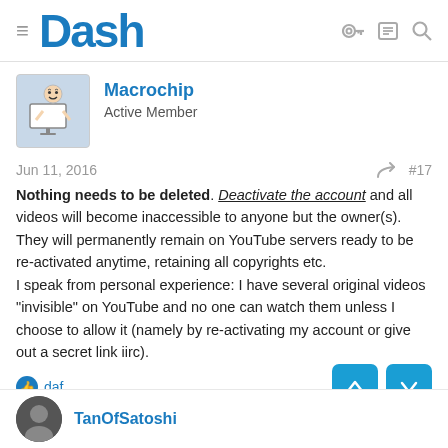Dash
Macrochip
Active Member
Jun 11, 2016  #17
Nothing needs to be deleted. Deactivate the account and all videos will become inaccessible to anyone but the owner(s). They will permanently remain on YouTube servers ready to be re-activated anytime, retaining all copyrights etc.
I speak from personal experience: I have several original videos "invisible" on YouTube and no one can watch them unless I choose to allow it (namely by re-activating my account or give out a secret link iirc).
👍 daf
TanOfSatoshi